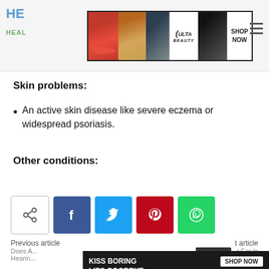HE... HEAL... [site logo with ULTA ad banner and hamburger menu]
Skin problems:
An active skin disease like severe eczema or widespread psoriasis.
Other conditions:
[Figure (other): Social share buttons: share icon (outline), Facebook (blue), Twitter (cyan), Pinterest (red), WhatsApp (green)]
Previous article | CLOSE | Next article | Does A... Hearin... | ...r Ear Is Ringing
[Figure (other): Bottom advertisement banner: KISS BORING LIPS GOODBYE | SHOP NOW | macys star logo]